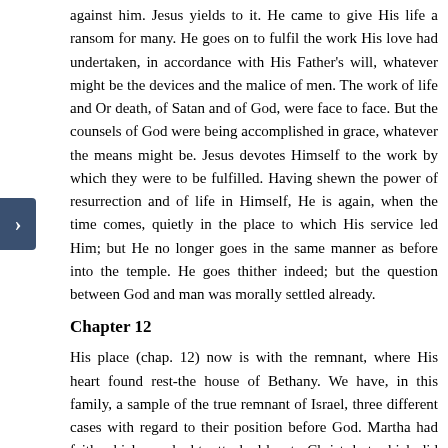against him. Jesus yields to it. He came to give His life a ransom for many. He goes on to fulfil the work His love had undertaken, in accordance with His Father's will, whatever might be the devices and the malice of men. The work of life and Or death, of Satan and of God, were face to face. But the counsels of God were being accomplished in grace, whatever the means might be. Jesus devotes Himself to the work by which they were to be fulfilled. Having shewn the power of resurrection and of life in Himself, He is again, when the time comes, quietly in the place to which His service led Him; but He no longer goes in the same manner as before into the temple. He goes thither indeed; but the question between God and man was morally settled already.
Chapter 12
His place (chap. 12) now is with the remnant, where His heart found rest-the house of Bethany. We have, in this family, a sample of the true remnant of Israel, three different cases with regard to their position before God. Martha had faith which, no doubt, attached her to Christ, but which did not go beyond that which was needed for